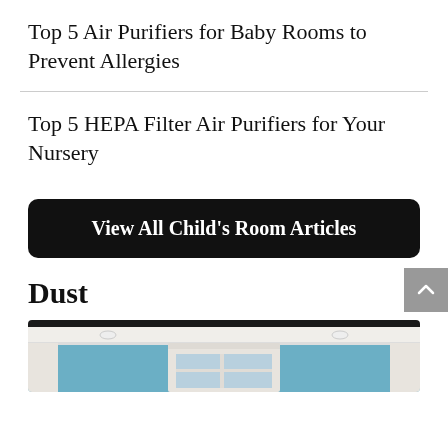Top 5 Air Purifiers for Baby Rooms to Prevent Allergies
Top 5 HEPA Filter Air Purifiers for Your Nursery
View All Child's Room Articles
Dust
[Figure (photo): Interior room photo showing a ceiling with recessed lights and a window, walls painted light blue, viewed from below]